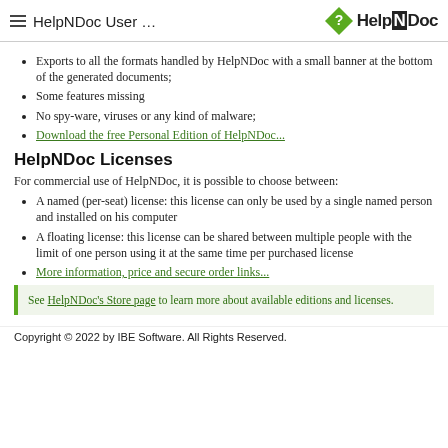HelpNDoc User ... HelpNDoc
Exports to all the formats handled by HelpNDoc with a small banner at the bottom of the generated documents;
Some features missing
No spy-ware, viruses or any kind of malware;
Download the free Personal Edition of HelpNDoc...
HelpNDoc Licenses
For commercial use of HelpNDoc, it is possible to choose between:
A named (per-seat) license: this license can only be used by a single named person and installed on his computer
A floating license: this license can be shared between multiple people with the limit of one person using it at the same time per purchased license
More information, price and secure order links...
See HelpNDoc's Store page to learn more about available editions and licenses.
Copyright © 2022 by IBE Software. All Rights Reserved.